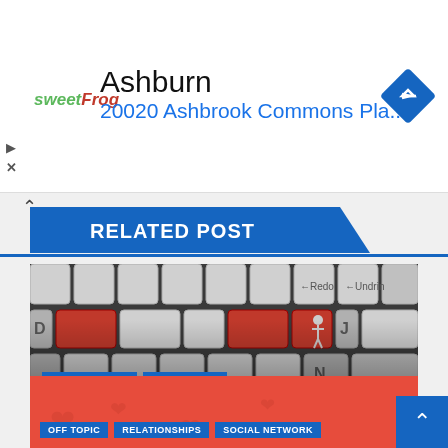[Figure (screenshot): Ad banner for sweetFrog showing Ashburn location at 20020 Ashbrook Commons Pla... with navigation arrow icon]
RELATED POST
[Figure (photo): Computer keyboard with red keys and human figure icons, overlaid with article card: tags RELATIONSHIPS and TECHNOLOGY, title How The #MeToo Movement Has Change Online Dating, date AUG 12, 2019, author GAMERGIRL]
[Figure (screenshot): Partial article card with red/salmon background showing tags: OFF TOPIC, RELATIONSHIPS, SOCIAL NETWORK]